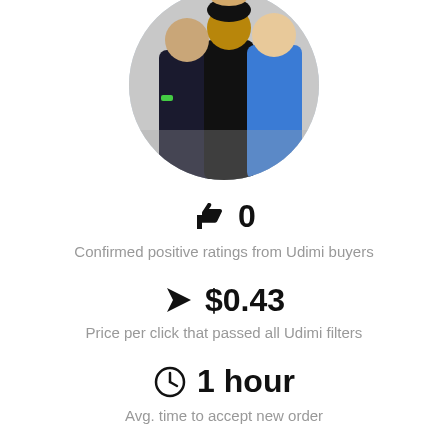[Figure (photo): Circular profile photo of a group of people, one wearing a blue sweater]
👍 0
Confirmed positive ratings from Udimi buyers
➤ $0.43
Price per click that passed all Udimi filters
🕐 1 hour
Avg. time to accept new order
👤 9h